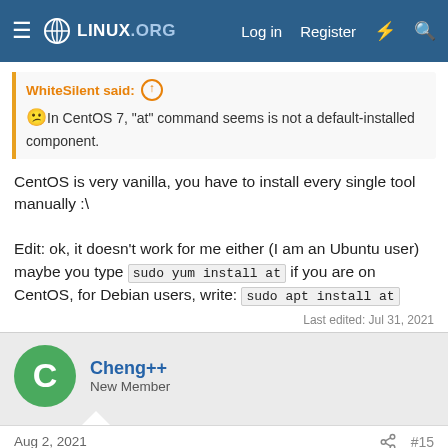LINUX.ORG — Log in  Register
WhiteSilent said: 😕 In CentOS 7, "at" command seems is not a default-installed component.
CentOS is very vanilla, you have to install every single tool manually :\

Edit: ok, it doesn't work for me either (I am an Ubuntu user) maybe you type sudo yum install at if you are on CentOS, for Debian users, write: sudo apt install at
Last edited: Jul 31, 2021
Cheng++
New Member
Aug 2, 2021  #15
Can it be use in the MacOS?